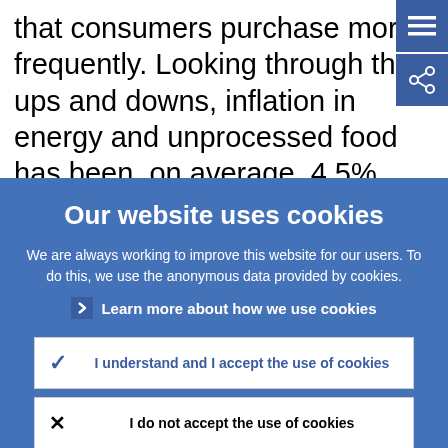that consumers purchase more frequently. Looking through the ups and downs, inflation in energy and unprocessed food has been, on average, 4.5% between January 2018 and today, and it has never fallen
Our website uses cookies
We are always working to improve this website for our users. To do this, we use the anonymous data provided by cookies.
Learn more about how we use cookies
I understand and I accept the use of cookies
I do not accept the use of cookies